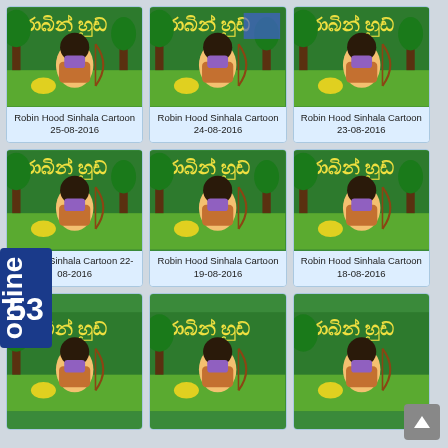[Figure (screenshot): Grid of Robin Hood Sinhala Cartoon thumbnail cards, 3 columns x 3 rows, each with an animated cartoon image and title text below]
Robin Hood Sinhala Cartoon 25-08-2016
Robin Hood Sinhala Cartoon 24-08-2016
Robin Hood Sinhala Cartoon 23-08-2016
Robin Hood Sinhala Cartoon 22-08-2016
Robin Hood Sinhala Cartoon 19-08-2016
Robin Hood Sinhala Cartoon 18-08-2016